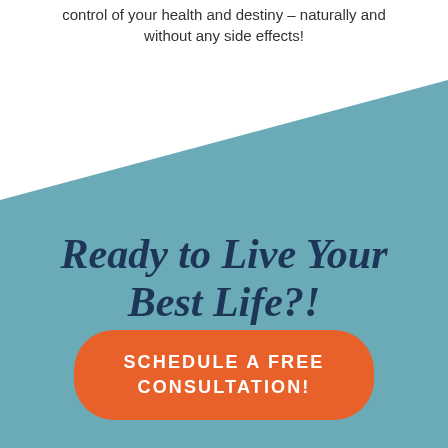control of your health and destiny – naturally and without any side effects!
Ready to Live Your Best Life?!
SCHEDULE A FREE CONSULTATION!